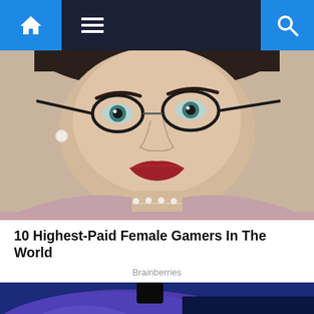Navigation bar with home, menu, and search icons
[Figure (photo): Close-up portrait photo of a woman with short dark hair, glasses, red lipstick, pearl earring, and pearl necklace, wearing a mauve/pink top, smiling]
10 Highest-Paid Female Gamers In The World
Brainberries
[Figure (photo): Close-up photo of a purple/blue gaming controller or device showing SPD, FMS2, AP1, VALTS labels on its surface, with a scroll-to-top button overlaid]